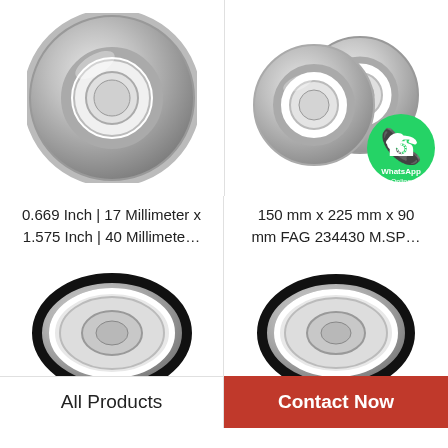[Figure (photo): Single silver ball bearing with metal shield, front-facing view]
[Figure (photo): Two small silver ball bearings with metal shields, side by side; WhatsApp Online badge overlay]
0.669 Inch | 17 Millimeter x 1.575 Inch | 40 Millimete…
150 mm x 225 mm x 90 mm FAG 234430 M.SP…
[Figure (photo): Ball bearing with rubber seal, bottom-left product]
[Figure (photo): Ball bearing with rubber seal, bottom-right product]
All Products
Contact Now